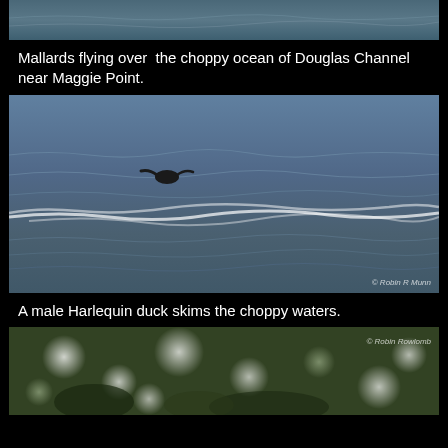[Figure (photo): Partial top of photo showing choppy ocean water, top strip visible]
Mallards flying over the choppy ocean of Douglas Channel near Maggie Point.
[Figure (photo): A male Harlequin duck skimming low over choppy ocean waves, watermark © Robin R Munn visible bottom right]
A male Harlequin duck skims the choppy waters.
[Figure (photo): Partial bottom photo showing bokeh of green foliage, watermark © Robin Rowlomb visible top right]